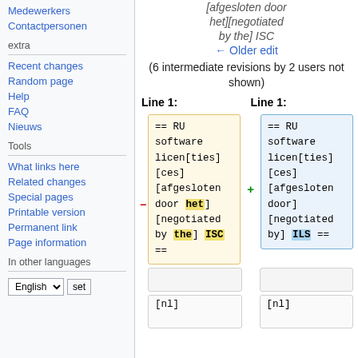Medewerkers
Contactpersonen
extra
Recent changes
Random page
Help
FAQ
Nieuws
Tools
What links here
Related changes
Special pages
Printable version
Permanent link
Page information
In other languages
[afgesloten door het][negotiated by the] ISC
← Older edit
(6 intermediate revisions by 2 users not shown)
Line 1:
Line 1:
== RU software licen[ties][ces] [afgesloten door het] [negotiated by the] ISC ==
== RU software licen[ties][ces] [afgesloten door] [negotiated by] ILS ==
[nl]
[nl]